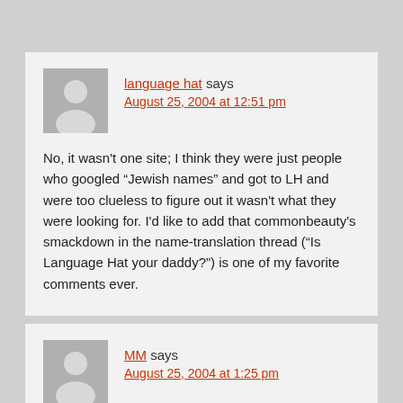language hat says
August 25, 2004 at 12:51 pm
No, it wasn't one site; I think they were just people who googled “Jewish names” and got to LH and were too clueless to figure out it wasn't what they were looking for. I'd like to add that commonbeauty's smackdown in the name-translation thread (“Is Language Hat your daddy?”) is one of my favorite comments ever.
MM says
August 25, 2004 at 1:25 pm